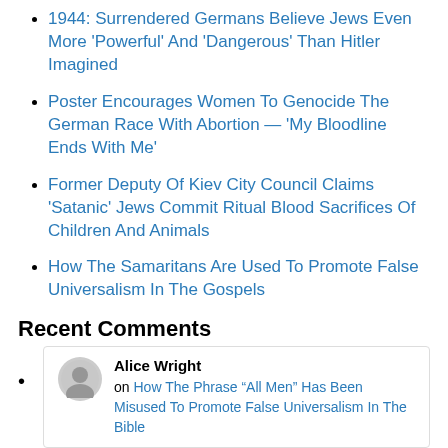1944: Surrendered Germans Believe Jews Even More 'Powerful' And 'Dangerous' Than Hitler Imagined
Poster Encourages Women To Genocide The German Race With Abortion — 'My Bloodline Ends With Me'
Former Deputy Of Kiev City Council Claims 'Satanic' Jews Commit Ritual Blood Sacrifices Of Children And Animals
How The Samaritans Are Used To Promote False Universalism In The Gospels
Recent Comments
Alice Wright on How The Phrase “All Men” Has Been Misused To Promote False Universalism In The Bible